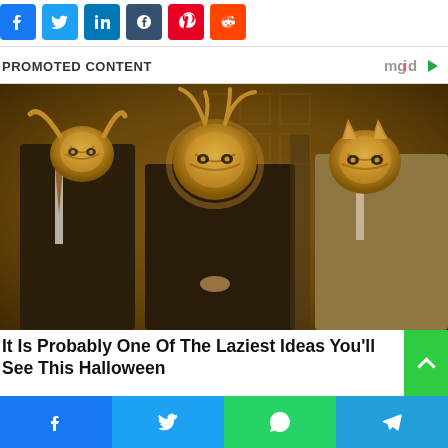[Figure (other): Row of social media share icons: Facebook (blue), Twitter (light blue), LinkedIn (dark blue), Tumblr (dark navy), Pinterest (red), Reddit (orange-red)]
PROMOTED CONTENT
[Figure (photo): Three men in formal suits wearing elaborate golden animal-head masks (lion, deer/stag, tiger/cat) at what appears to be a masquerade or Halloween event, warm golden lighting.]
It Is Probably One Of The Laziest Ideas You'll See This Halloween
[Figure (other): Bottom share bar with four buttons: Facebook (blue), Twitter (light blue), WhatsApp (green), Telegram (blue)]